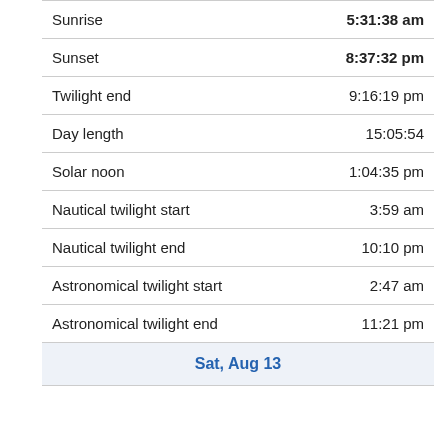| Event | Time |
| --- | --- |
| Sunrise | 5:31:38 am |
| Sunset | 8:37:32 pm |
| Twilight end | 9:16:19 pm |
| Day length | 15:05:54 |
| Solar noon | 1:04:35 pm |
| Nautical twilight start | 3:59 am |
| Nautical twilight end | 10:10 pm |
| Astronomical twilight start | 2:47 am |
| Astronomical twilight end | 11:21 pm |
| Sat, Aug 13 |  |